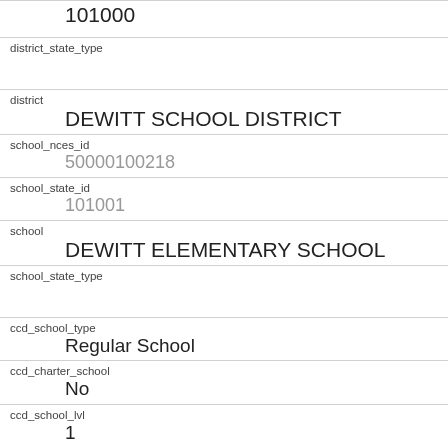| field | value |
| --- | --- |
|  | 101000 |
| district_state_type |  |
| district | DEWITT SCHOOL DISTRICT |
| school_nces_id | 50000100218 |
| school_state_id | 101001 |
| school | DEWITT ELEMENTARY SCHOOL |
| school_state_type |  |
| ccd_school_type | Regular School |
| ccd_charter_school | No |
| ccd_school_lvl | 1 |
| ccd_school_low_grade |  |